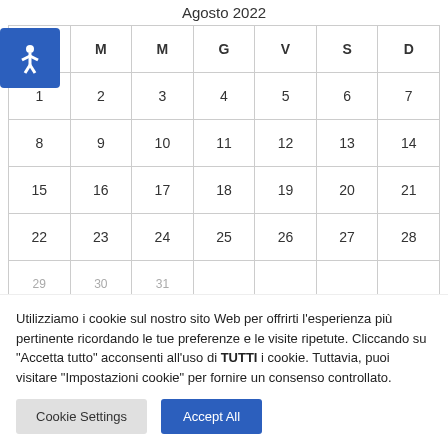Agosto 2022
| L | M | M | G | V | S | D |
| --- | --- | --- | --- | --- | --- | --- |
| 1 | 2 | 3 | 4 | 5 | 6 | 7 |
| 8 | 9 | 10 | 11 | 12 | 13 | 14 |
| 15 | 16 | 17 | 18 | 19 | 20 | 21 |
| 22 | 23 | 24 | 25 | 26 | 27 | 28 |
| 29 | 30 | 31 |  |  |  |  |
Utilizziamo i cookie sul nostro sito Web per offrirti l'esperienza più pertinente ricordando le tue preferenze e le visite ripetute. Cliccando su "Accetta tutto" acconsenti all'uso di TUTTI i cookie. Tuttavia, puoi visitare "Impostazioni cookie" per fornire un consenso controllato.
Cookie Settings | Accept All